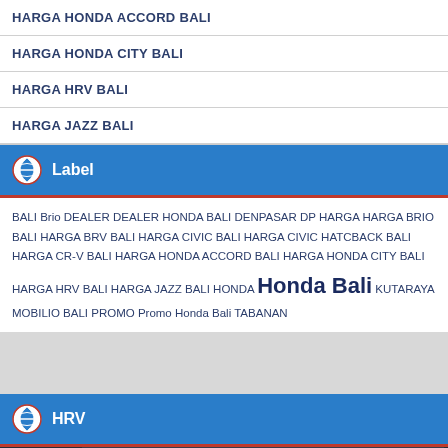HARGA HONDA ACCORD BALI
HARGA HONDA CITY BALI
HARGA HRV BALI
HARGA JAZZ BALI
Label
BALI Brio DEALER DEALER HONDA BALI DENPASAR DP HARGA HARGA BRIO BALI HARGA BRV BALI HARGA CIVIC BALI HARGA CIVIC HATCBACK BALI HARGA CR-V BALI HARGA HONDA ACCORD BALI HARGA HONDA CITY BALI HARGA HRV BALI HARGA JAZZ BALI HONDA Honda Bali KUTARAYA MOBILIO BALI PROMO Promo Honda Bali TABANAN
HRV
[Figure (screenshot): Video thumbnail for Honda HR-V 2017 In de... with WhatsApp button overlay and YouTube-style controls]